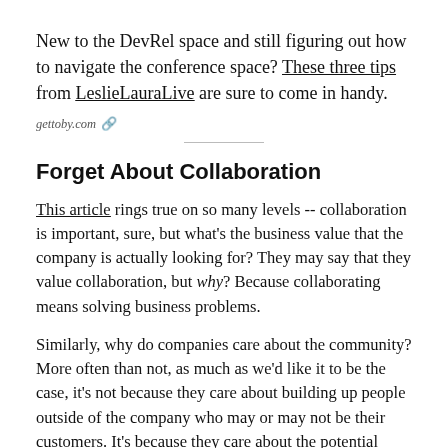New to the DevRel space and still figuring out how to navigate the conference space? These three tips from LeslieLauraLive are sure to come in handy.
gettoby.com 🔗
Forget About Collaboration
This article rings true on so many levels -- collaboration is important, sure, but what's the business value that the company is actually looking for? They may say that they value collaboration, but why? Because collaborating means solving business problems.
Similarly, why do companies care about the community? More often than not, as much as we'd like it to be the case, it's not because they care about building up people outside of the company who may or may not be their customers. It's because they care about the potential value that the